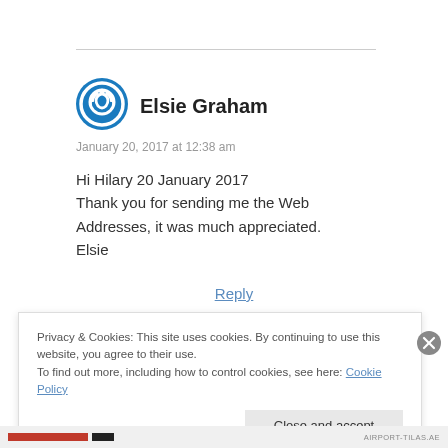[Figure (illustration): Blue circular power/user avatar icon for Elsie Graham]
Elsie Graham
January 20, 2017 at 12:38 am
Hi Hilary 20 January 2017
Thank you for sending me the Web Addresses, it was much appreciated.
Elsie
Reply
Privacy & Cookies: This site uses cookies. By continuing to use this website, you agree to their use.
To find out more, including how to control cookies, see here: Cookie Policy
Close and accept